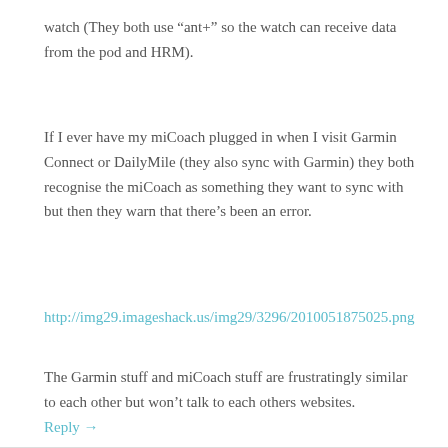watch (They both use "ant+" so the watch can receive data from the pod and HRM).
If I ever have my miCoach plugged in when I visit Garmin Connect or DailyMile (they also sync with Garmin) they both recognise the miCoach as something they want to sync with but then they warn that there’s been an error.
http://img29.imageshack.us/img29/3296/2010051875025.png
The Garmin stuff and miCoach stuff are frustratingly similar to each other but won’t talk to each others websites.
Reply →